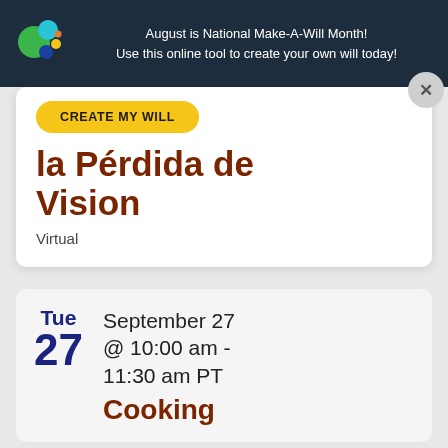August is National Make-A-Will Month! Use this online tool to create your own will today!
CREATE MY WILL
la Pérdida de Vision
Virtual
Tue 27
September 27 @ 10:00 am - 11:30 am PT
Cooking